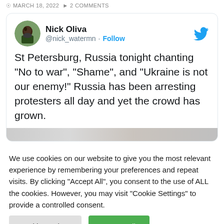MARCH 18, 2022  ▶ 2 COMMENTS
[Figure (screenshot): Embedded tweet from Nick Oliva (@nick_watermn) with Twitter bird logo. Tweet text: St Petersburg, Russia tonight chanting "No to war", "Shame", and "Ukraine is not our enemy!" Russia has been arresting protesters all day and yet the crowd has grown. Followed by a partial image strip.]
We use cookies on our website to give you the most relevant experience by remembering your preferences and repeat visits. By clicking "Accept All", you consent to the use of ALL the cookies. However, you may visit "Cookie Settings" to provide a controlled consent.
Cookie Settings
Accept All